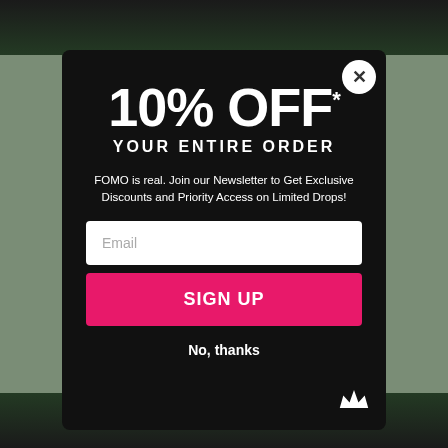[Figure (screenshot): E-commerce popup modal with black background offering 10% off discount for newsletter signup]
10% OFF
YOUR ENTIRE ORDER
FOMO is real. Join our Newsletter to Get Exclusive Discounts and Priority Access on Limited Drops!
Email
SIGN UP
No, thanks